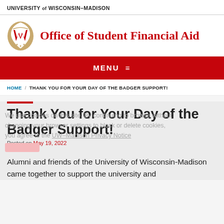UNIVERSITY of WISCONSIN-MADISON
Office of Student Financial Aid
MENU ≡
HOME / THANK YOU FOR YOUR DAY OF THE BADGER SUPPORT!
Thank You for Your Day of the Badger Support!
Posted on May 19, 2022
Alumni and friends of the University of Wisconsin-Madison came together to support the university and